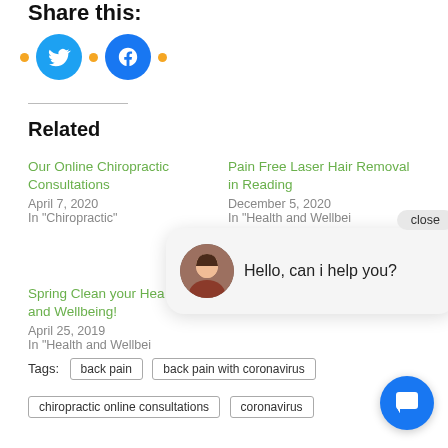Share this:
[Figure (illustration): Social sharing icons: Twitter (blue circle with bird) and Facebook (blue circle with f), separated by orange dots]
Related
Our Online Chiropractic Consultations
April 7, 2020
In "Chiropractic"
Pain Free Laser Hair Removal in Reading
December 5, 2020
In "Health and Wellbei..."
Spring Clean your Hea...and Wellbeing!
April 25, 2019
In "Health and Wellbei..."
[Figure (screenshot): Chat bot popup bubble with avatar photo of woman, text: Hello, can i help you?, and a close button]
Tags: back pain   back pain with coronavirus   chiropractic online consultations   coronavirus